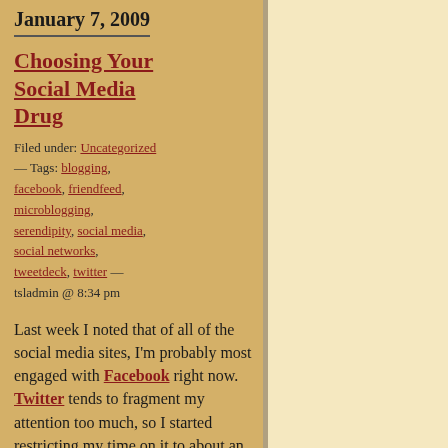January 7, 2009
Choosing Your Social Media Drug
Filed under: Uncategorized — Tags: blogging, facebook, friendfeed, microblogging, serendipity, social media, social networks, tweetdeck, twitter — tsladmin @ 8:34 pm
Last week I noted that of all of the social media sites, I'm probably most engaged with Facebook right now. Twitter tends to fragment my attention too much, so I started restricting my time on it to about an hour a day. The conversation there is too disjointed